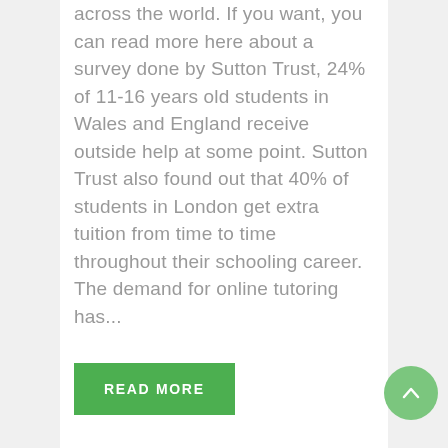across the world. If you want, you can read more here about a survey done by Sutton Trust, 24% of 11-16 years old students in Wales and England receive outside help at some point. Sutton Trust also found out that 40% of students in London get extra tuition from time to time throughout their schooling career. The demand for online tutoring has...
READ MORE